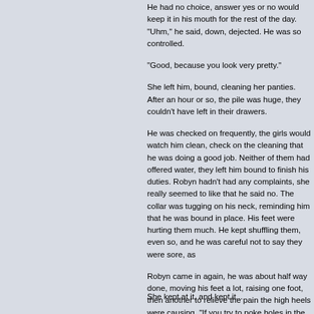He had no choice, answer yes or no would keep it in his mouth for the rest of the day. "Uhm," he said, down, dejected. He was so controlled.
"Good, because you look very pretty."
She left him, bound, cleaning her panties. After an hour or so, the pile was huge, they couldn't have left in their drawers.
He was checked on frequently, the girls would watch him clean, check on the cleaning that he was doing a good job. Neither of them had offered water, they left him bound to finish his duties. Robyn hadn't had any complaints, she really seemed to like that he said no. The collar was tugging on his neck, reminding him that he was bound in place. His feet were hurting them much. He kept shuffling them, even so, and he was careful not to say they were sore, as
Robyn came in again, he was about half way done, moving his feet a lot, raising one foot, then another to relieve the pain the high heels were causing. "If you try to poke holes in the floor with your heels in here, Petra will be very annoyed and I will probably g